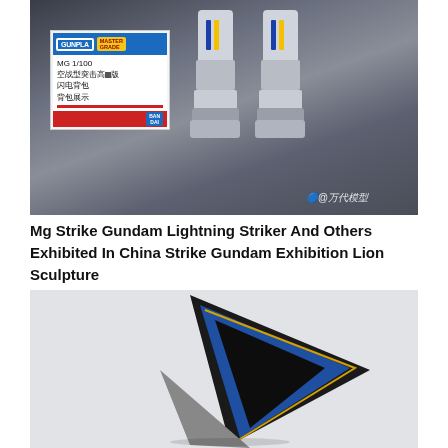[Figure (photo): Photo of Gundam model figure (legs visible) displayed on a dark table surface, with a Gunpla product sign/label in the foreground showing MG 1/100 text in Chinese and a Bandai logo. Weibo watermark '@万代模型' visible at bottom right.]
Mg Strike Gundam Lightning Striker And Others Exhibited In China Strike Gundam Exhibition Lion Sculpture
[Figure (photo): Close-up photo of a blue and black wing/striker pack component of a Strike Gundam model, shown against a light gray background.]